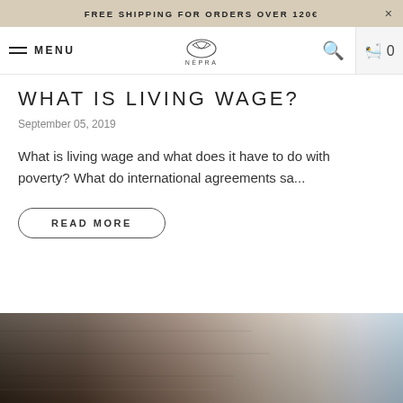FREE SHIPPING FOR ORDERS OVER 120€  ×
MENU  NÉPRA  🔍  🛍 0
WHAT IS LIVING WAGE?
September 05, 2019
What is living wage and what does it have to do with poverty? What do international agreements sa...
READ MORE
[Figure (photo): Bottom portion showing a blurred wooden surface with warm brown tones on left fading to light beige and pale blue-grey on the right.]